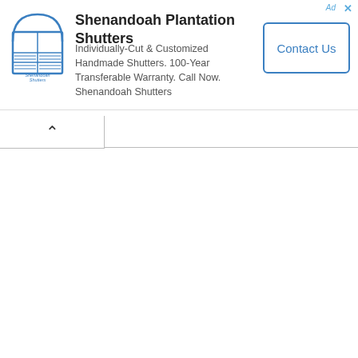[Figure (screenshot): Web advertisement banner for Shenandoah Plantation Shutters with logo, ad text, and Contact Us button]
Shenandoah Plantation Shutters
Individually-Cut & Customized Handmade Shutters. 100-Year Transferable Warranty. Call Now. Shenandoah Shutters